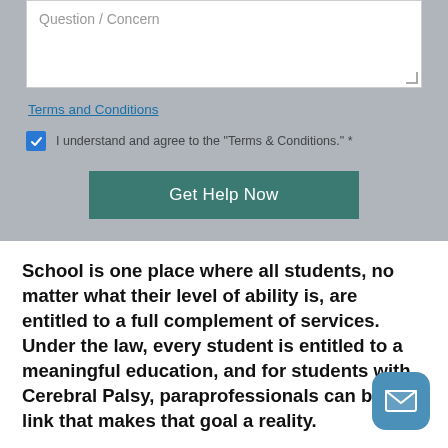[Figure (screenshot): Web form with a textarea labeled 'Question / Concern', a 'Terms and Conditions' link, a checked checkbox with label 'I understand and agree to the "Terms & Conditions." *', and a teal 'Get Help Now' button]
School is one place where all students, no matter what their level of ability is, are entitled to a full complement of services. Under the law, every student is entitled to a meaningful education, and for students with Cerebral Palsy, paraprofessionals can be the link that makes that goal a reality.
A paraprofessional helps a child with all of his/her needs during the school day; depending on...